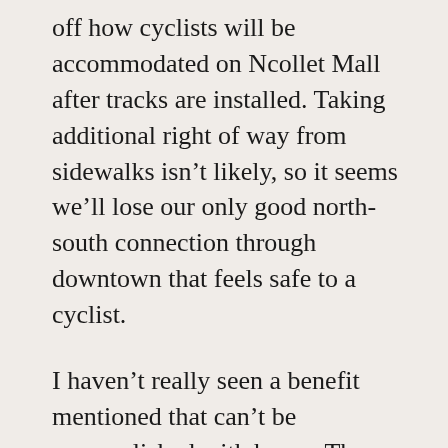off how cyclists will be accommodated on Ncollet Mall after tracks are installed. Taking additional right of way from sidewalks isn't likely, so it seems we'll lose our only good north-south connection through downtown that feels safe to a cyclist.
I haven't really seen a benefit mentioned that can't be accomplished with buses. The economic development argument remains unproven.
If we want better transit now, what is more likely to get built: something that requires a giant federal government payment, or something Met Council is already building in St. Paul? What cost